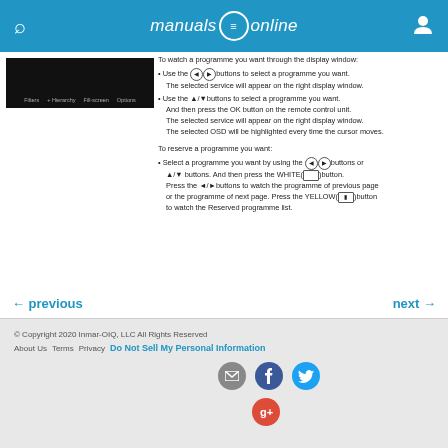manuals online
[Figure (screenshot): Small dark screenshot of a display window with menu bar items]
To watch a programme you want through the display window:
• Use the buttons to select a programme you want.
  The selected service will appear on the right display window.
• Use the ▲/▼buttons to select a programme you want.
  And then press the OK button on the remote control unit.
  The selected service will appear on the right display window.
  The selected OSD will be highlighted every time the cursor moves.

To reserve a programme you want:
• Select a programme you want by using the buttons or
  ▲/▼ buttons. And then press the WHITE( )button.
  Press the ◄/►buttons to watch the programme of previous page
  or the programme of next page. Press the YELLOW( )button
  to watch the Reserved programme list.
← previous    next →
© Copyright 2020 Inmar-OIQ, LLC All Rights Reserved
About Us  Terms  Privacy  Do Not Sell My Personal Information